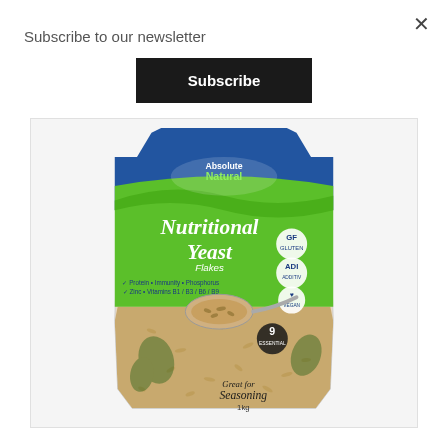Subscribe to our newsletter
Subscribe
[Figure (photo): Absolute Natural Nutritional Yeast Flakes product bag with green and blue packaging, showing a spoon of flakes and icons for protein, vitamins B1, B3, B6, zinc. Text reads 'Great for Seasoning 1kg'.]
×